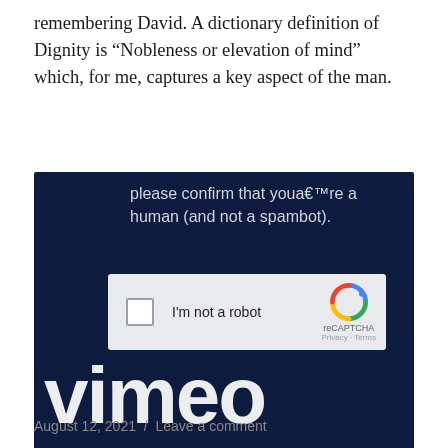remembering David. A dictionary definition of Dignity is “Nobleness or elevation of mind” which, for me, captures a key aspect of the man.
[Figure (screenshot): Screenshot of a dark navy blue webpage with a CAPTCHA overlay. Text reads 'please confirm that youâ€™re a human (and not a spambot).' with a reCAPTCHA checkbox widget showing 'I’m not a robot', the reCAPTCHA logo, and 'Privacy - Terms'. Below is partial Vimeo logo text in white.]
August 12, 2021 / Leave a comment